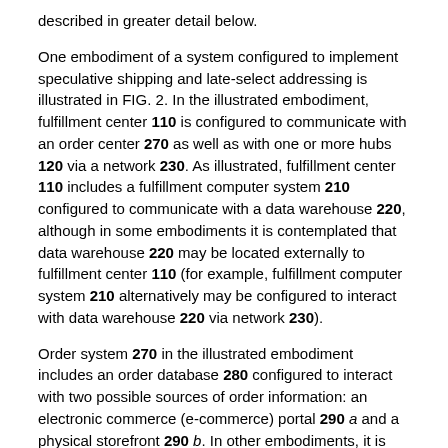described in greater detail below.
One embodiment of a system configured to implement speculative shipping and late-select addressing is illustrated in FIG. 2. In the illustrated embodiment, fulfillment center 110 is configured to communicate with an order center 270 as well as with one or more hubs 120 via a network 230. As illustrated, fulfillment center 110 includes a fulfillment computer system 210 configured to communicate with a data warehouse 220, although in some embodiments it is contemplated that data warehouse 220 may be located externally to fulfillment center 110 (for example, fulfillment computer system 210 alternatively may be configured to interact with data warehouse 220 via network 230).
Order system 270 in the illustrated embodiment includes an order database 280 configured to interact with two possible sources of order information: an electronic commerce (e-commerce) portal 290 a and a physical storefront 290 b. In other embodiments, it is contemplated that more or fewer sources of order information may be included. For example, an e-commerce enterprise may lack